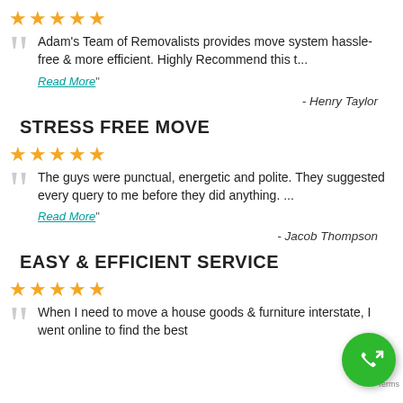★★★★★
Adam's Team of Removalists provides move system hassle-free & more efficient. Highly Recommend this t...
Read More"
- Henry Taylor
STRESS FREE MOVE
★★★★★
The guys were punctual, energetic and polite. They suggested every query to me before they did anything. ...
Read More"
- Jacob Thompson
EASY & EFFICIENT SERVICE
★★★★★
When I need to move a house goods & furniture interstate, I went online to find the best